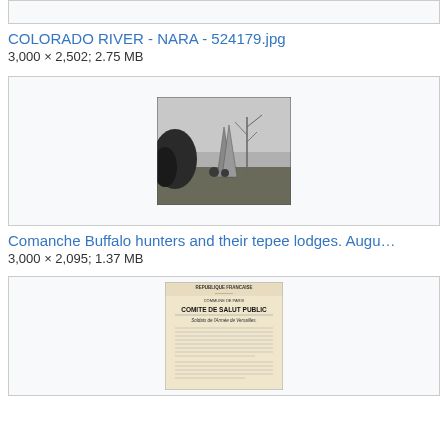[Figure (screenshot): Top partial image box, mostly cut off]
COLORADO RIVER - NARA - 524179.jpg
3,000 × 2,502; 2.75 MB
[Figure (photo): Black and white photograph of Comanche Buffalo hunters and their tepee lodges in a landscape with bare trees]
Comanche Buffalo hunters and their tepee lodges. Augu…
3,000 × 2,095; 1.37 MB
[Figure (photo): Image of a French document - Republique Francaise, Comite de Salut Public, addressed to Soldats de l'Armée de Versailles]